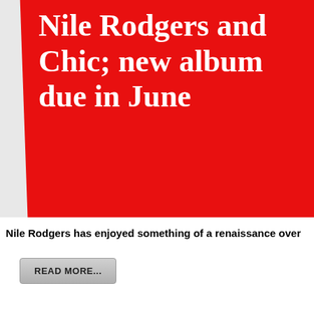[Figure (illustration): Red card/album cover tilted slightly with white bold serif text reading 'Nile Rodgers and Chic; new album due in June' on a red background, with a gray panel visible on the right edge]
Nile Rodgers has enjoyed something of a renaissance over
READ MORE...